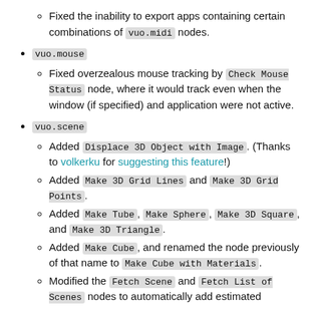Fixed the inability to export apps containing certain combinations of vuo.midi nodes.
vuo.mouse
Fixed overzealous mouse tracking by Check Mouse Status node, where it would track even when the window (if specified) and application were not active.
vuo.scene
Added Displace 3D Object with Image. (Thanks to volkerku for suggesting this feature!)
Added Make 3D Grid Lines and Make 3D Grid Points.
Added Make Tube, Make Sphere, Make 3D Square, and Make 3D Triangle.
Added Make Cube, and renamed the node previously of that name to Make Cube with Materials.
Modified the Fetch Scene and Fetch List of Scenes nodes to automatically add estimated